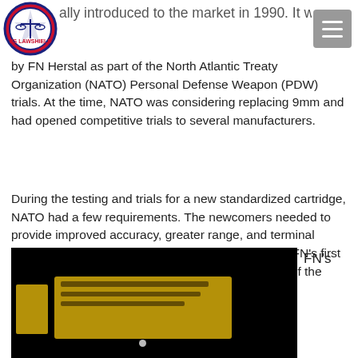ally introduced to the market in 1990. It was c…
by FN Herstal as part of the North Atlantic Treaty Organization (NATO) Personal Defense Weapon (PDW) trials. At the time, NATO was considering replacing 9mm and had opened competitive trials to several manufacturers.
During the testing and trials for a new standardized cartridge, NATO had a few requirements. The newcomers needed to provide improved accuracy, greater range, and terminal performance beyond what the 9mm was providing. FN's first attempt was the SS90, which was an early version of the cartridge known today as the 5.7x28mm.
[Figure (photo): Dark background photo showing yellow/amber labeled boxes or ammunition packaging, partially blurred. Text partially visible on labels.]
FN's